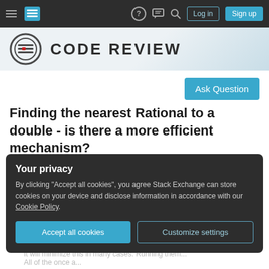Code Review Stack Exchange navigation bar with hamburger menu, logo, help, chat, search icons, Log in and Sign up buttons
[Figure (logo): Code Review Stack Exchange logo with circular icon and CODE REVIEW text]
Ask Question
Finding the nearest Rational to a double - is there a more efficient mechanism?
Asked 8 years, 4 months ago   Modified 8 years, 1 month ago   Viewed 2k times
Your privacy
By clicking "Accept all cookies", you agree Stack Exchange can store cookies on your device and disclose information in accordance with our Cookie Policy.
Accept all cookies   Customize settings
It will minimize this in many cases. Running them... All of the once a...